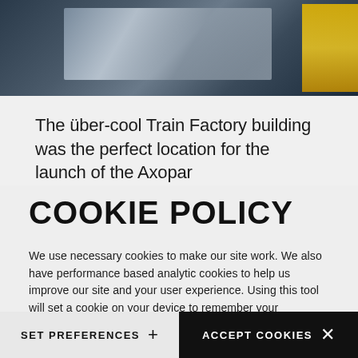[Figure (photo): Photograph of people at a boat launch event at the Train Factory building, with reflective foil covering and yellow branded materials visible]
The über-cool Train Factory building was the perfect location for the launch of the Axopar
COOKIE POLICY
We use necessary cookies to make our site work. We also have performance based analytic cookies to help us improve our site and your user experience. Using this tool will set a cookie on your device to remember your preferences.
SET PREFERENCES
ACCEPT COOKIES